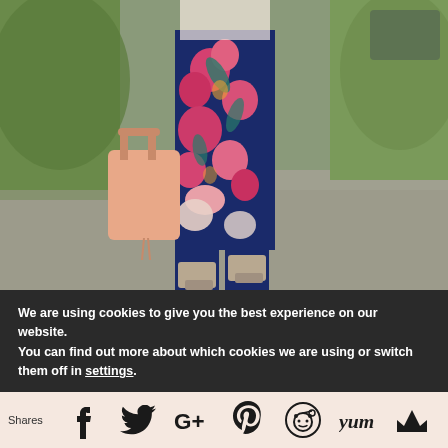[Figure (photo): Person walking outdoors wearing navy blue floral printed trousers with pink and red flowers, carrying a pink/peach structured handbag, wearing taupe ankle boots. Green foliage and a driveway in background.]
We are using cookies to give you the best experience on our website.
You can find out more about which cookies we are using or switch them off in settings.
Shares